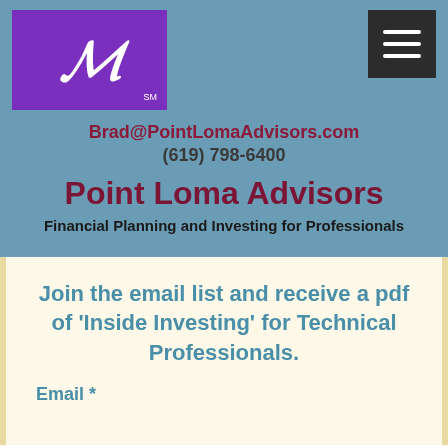[Figure (logo): Point Loma Advisors logo: stylized 'M' or 'W' lettermark in white on purple background with 'SM' superscript]
Brad@PointLomaAdvisors.com
(619) 798-6400
Point Loma Advisors
Financial Planning and Investing for Professionals
Join the email list and receive a pdf of 'Inside Investing' for Technical Professionals.
Email *